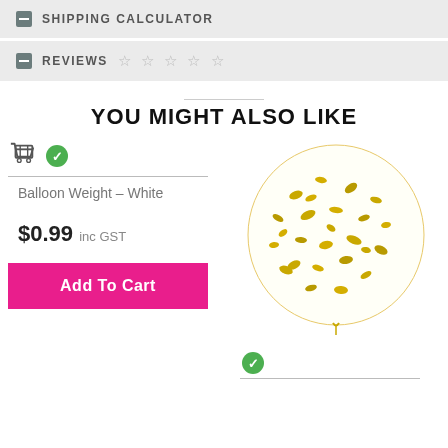SHIPPING CALCULATOR
REVIEWS ☆ ☆ ☆ ☆ ☆
YOU MIGHT ALSO LIKE
Balloon Weight – White
$0.99 inc GST
[Figure (photo): Clear balloon filled with gold confetti pieces, shown inflated with a small knot at the bottom]
Add To Cart